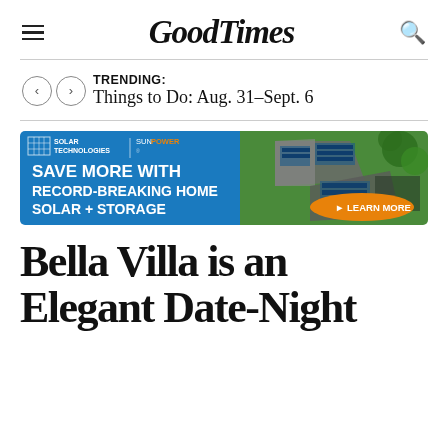GoodTimes
TRENDING:
Things to Do: Aug. 31–Sept. 6
[Figure (infographic): Solar Technologies SunPower advertisement banner: 'SAVE MORE WITH RECORD-BREAKING HOME SOLAR + STORAGE' with a 'LEARN MORE' button and an aerial photo of a house with solar panels.]
Bella Villa is an Elegant Date-Night Destination